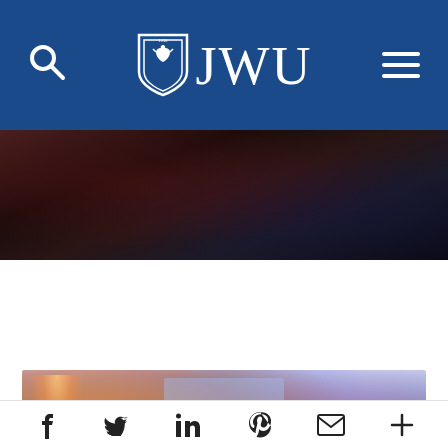[Figure (screenshot): JWU university website navigation bar with blue background, search icon on left, JWU shield logo and text in center, hamburger menu on right]
[Figure (photo): Dark blurred photo of a venue/concert hall interior]
News / 2020 / Sports and Entertainment Industries Adapting Daily to Covid-19 Fallout
[Figure (photo): Concert crowd photo with stage lights and audience silhouettes]
[Figure (infographic): Social media sharing bar with Facebook, Twitter, LinkedIn, Pinterest, email, and plus icons]